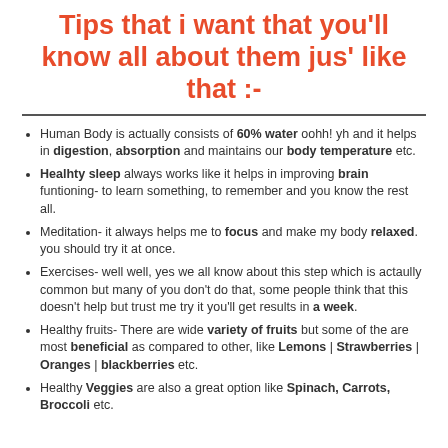Tips that i want that you'll know all about them jus' like that :-
Human Body is actually consists of 60% water oohh! yh and it helps in digestion, absorption and maintains our body temperature etc.
Healhty sleep always works like it helps in improving brain funtioning- to learn something, to remember and you know the rest all.
Meditation- it always helps me to focus and make my body relaxed. you should try it at once.
Exercises- well well, yes we all know about this step which is actaully common but many of you don't do that, some people think that this doesn't help but trust me try it you'll get results in a week.
Healthy fruits- There are wide variety of fruits but some of the are most beneficial as compared to other, like Lemons | Strawberries | Oranges | blackberries etc.
Healthy Veggies are also a great option like Spinach, Carrots, Broccoli etc.